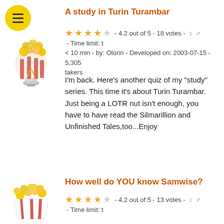A study in Turin Turambar
4.2 out of 5 - 18 votes - Time limit: t < 10 min - by: Olorin - Developed on: 2003-07-15 - 5,305 takers
I'm back. Here's another quiz of my "study" series. This time it's about Turin Turambar. Just being a LOTR nut isn't enough, you have to have read the Silmarillion and Unfinished Tales,too...Enjoy
How well do YOU know Samwise?
4.2 out of 5 - 13 votes - Time limit: t